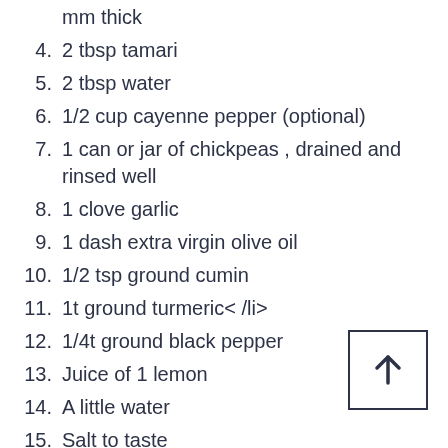mm thick
4. 2 tbsp tamari
5. 2 tbsp water
6. 1/2 cup cayenne pepper (optional)
7. 1 can or jar of chickpeas , drained and rinsed well
8. 1 clove garlic
9. 1 dash extra virgin olive oil
10. 1/2 tsp ground cumin
11. 1t ground turmeric< /li>
12. 1/4t ground black pepper
13. Juice of 1 lemon
14. A little water
15. Salt to taste